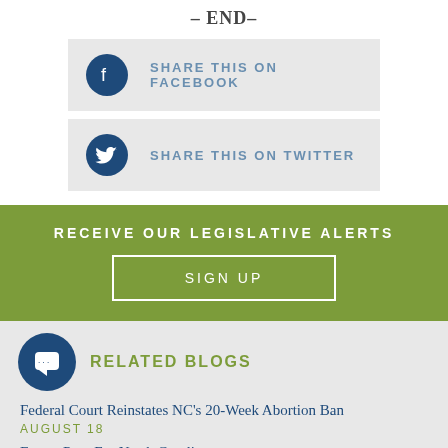– END–
SHARE THIS ON FACEBOOK
SHARE THIS ON TWITTER
RECEIVE OUR LEGISLATIVE ALERTS
SIGN UP
RELATED BLOGS
Federal Court Reinstates NC's 20-Week Abortion Ban AUGUST 18
Event: Pray For North Carolina AUGUST 16